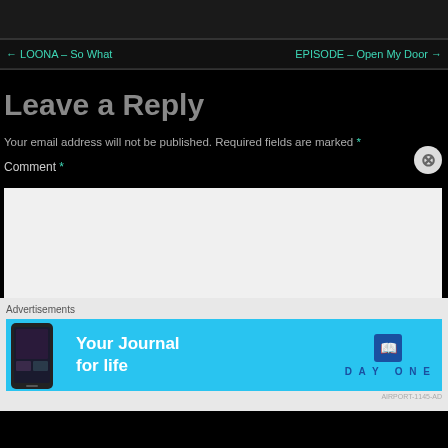← LOONA – So What
EPISODE – Open My Door →
Leave a Reply
Your email address will not be published. Required fields are marked *
Comment *
[Figure (screenshot): Empty comment text area input box]
[Figure (infographic): Advertisement banner for Day One journal app with sky blue background, phone image on left, 'Your Journal for life' text in center, and Day One logo on right]
Advertisements
AIRPORT-1145-AD